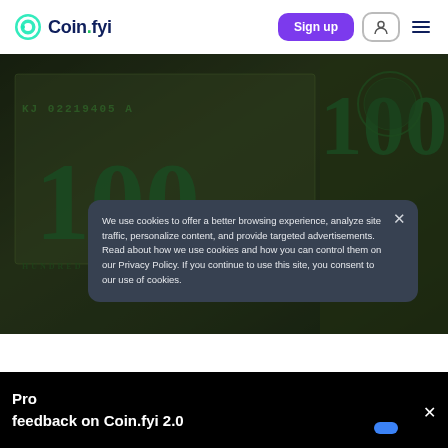Coin.fyi — Sign up navigation header
[Figure (photo): Close-up photograph of US $100 dollar bills showing serial number KJ02219405A and the number 100 in green ink, with another partial bill showing serial L79327270 in the background]
We use cookies to offer a better browsing experience, analyze site traffic, personalize content, and provide targeted advertisements.
Read about how we use cookies and how you can control them on our Privacy Policy. If you continue to use this site, you consent to our use of cookies.
Provide feedback on Coin.fyi 2.0